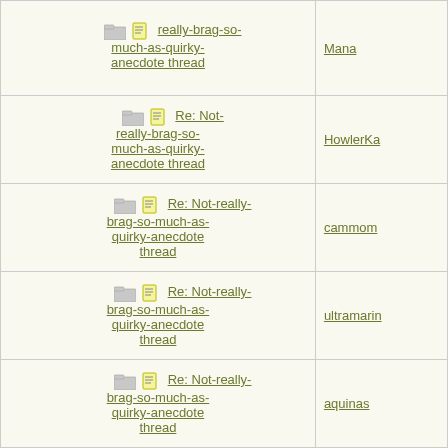| Subject | Author |
| --- | --- |
| Re: Not-really-brag-so-much-as-quirky-anecdote thread | Mana |
| Re: Not-really-brag-so-much-as-quirky-anecdote thread | HowlerKa |
| Re: Not-really-brag-so-much-as-quirky-anecdote thread | cammom |
| Re: Not-really-brag-so-much-as-quirky-anecdote thread | ultramarin |
| Re: Not-really-brag-so-much-as-quirky-anecdote thread | aquinas |
| Re: Not-really-brag-so-much-as-quirky-anecdote thread | lilmisssun |
| Re: Not-really-brag-so-much-as-quirky-anecdote thread | aquinas |